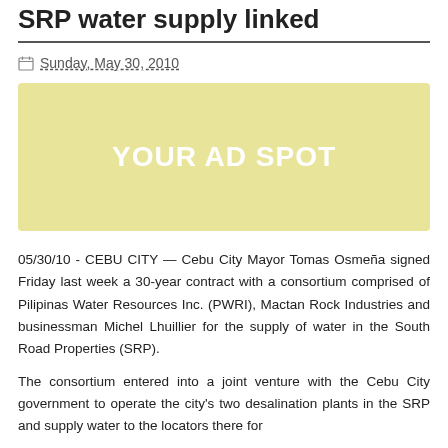SRP water supply linked
Sunday, May 30, 2010
[Figure (other): Yellow advertisement placeholder box with text 'YOUR AD SPOT']
05/30/10 - CEBU CITY — Cebu City Mayor Tomas Osmeña signed Friday last week a 30-year contract with a consortium comprised of Pilipinas Water Resources Inc. (PWRI), Mactan Rock Industries and businessman Michel Lhuillier for the supply of water in the South Road Properties (SRP).
The consortium entered into a joint venture with the Cebu City government to operate the city's two desalination plants in the SRP and supply water to the locators there for